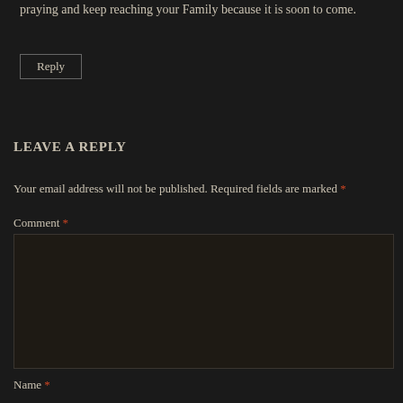praying and keep reaching your Family because it is soon to come.
Reply
LEAVE A REPLY
Your email address will not be published. Required fields are marked *
Comment *
Name *